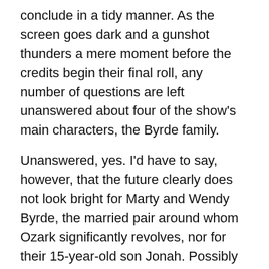conclude in a tidy manner. As the screen goes dark and a gunshot thunders a mere moment before the credits begin their final roll, any number of questions are left unanswered about four of the show's main characters, the Byrde family.
Unanswered, yes. I'd have to say, however, that the future clearly does not look bright for Marty and Wendy Byrde, the married pair around whom Ozark significantly revolves, nor for their 15-year-old son Jonah. Possibly Marty and Wendy's daughter Charlotte, a couple of years Jonah's senior, has a chance to grow towards the light. But I wouldn't bet heavy money on that.
What else would you expect, anyway, from a series fueled by the unrelenting pressures placed upon Marty by a Mexican drug cartel whose monies he must launder if he